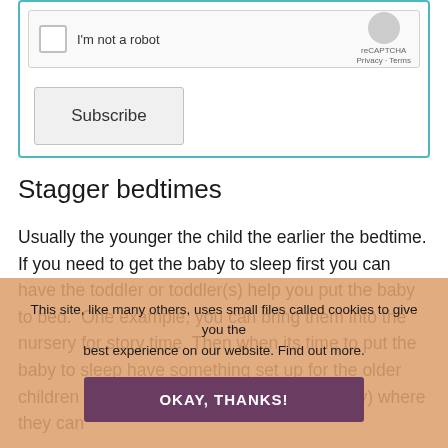[Figure (screenshot): reCAPTCHA widget with checkbox labeled 'I'm not a robot' and reCAPTCHA logo with Privacy and Terms links]
Subscribe
Stagger bedtimes
Usually the younger the child the earlier the bedtime. If you need to get the baby to sleep first you can have the toddler or toddler(s) help you put the baby to bed.  One example, you can bring them into the nursery for story time. Then when its time to put the baby to sleep have something set up for the older children in their room (like a book or quiet toy) where they can
This site, like many others, uses small files called cookies to give you the best experience on our website. Find out more.
OKAY, THANKS!